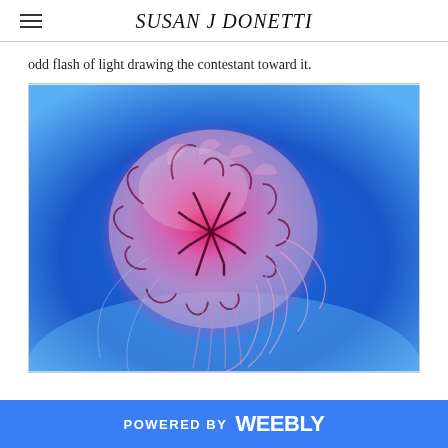SUSAN J DONETTI
odd flash of light drawing the contestant toward it.
[Figure (photo): A jellyfish with a pink-red glowing bell and dark branching veins, photographed against a vivid blue background. The jellyfish tentacles trail to the right and below.]
POWERED BY weebly